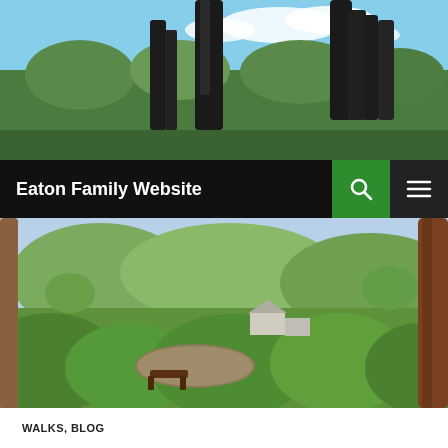[Figure (photo): Top banner photo: charred/dead tree trunks and eucalyptus forest against a blue sky with white clouds]
Eaton Family Website
[Figure (photo): Main landscape photo: rural Australian scene with a dam/pond, lush green trees and shrubs, farmhouse buildings in background, a wooden bench in foreground, and a tall reddish tree trunk on the right]
WALKS, BLOG
OLD CALEDONIA GULLY